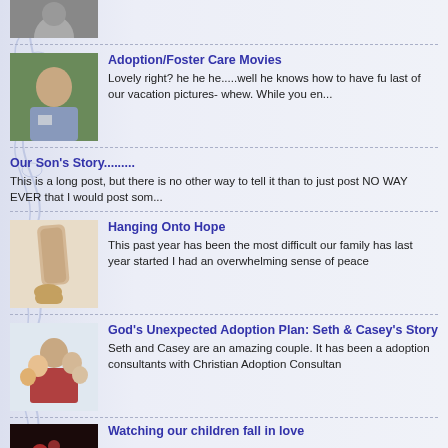[Figure (photo): Partial thumbnail at top of page, grayscale image of a person]
Adoption/Foster Care Movies — Lovely right?  he he he.....well he knows how to have fu last of our vacation pictures- whew.   While you en...
Our Son's Story......... — This is a long post, but there is no other way to tell it than to just post NO WAY EVER that I would post som...
Hanging Onto Hope — This past year has been the most difficult our family has last year started I had an overwhelming sense of peace
God's Unexpected Adoption Plan: Seth & Casey's Story — Seth and Casey are an amazing couple. It has been a adoption consultants with Christian Adoption Consultan
Watching our children fall in love